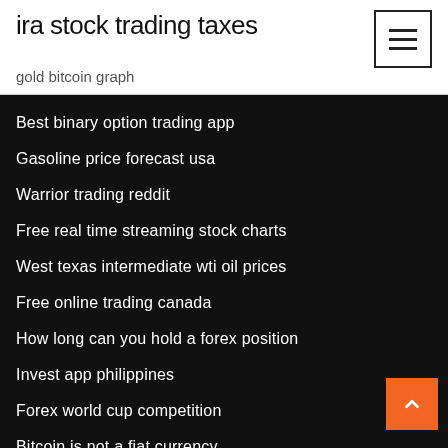ira stock trading taxes
gold bitcoin graph
Best binary option trading app
Gasoline price forecast usa
Warrior trading reddit
Free real time streaming stock charts
West texas intermediate wti oil prices
Free online trading canada
How long can you hold a forex position
Invest app philippines
Forex world cup competition
Bitcoin is not a fiat currency